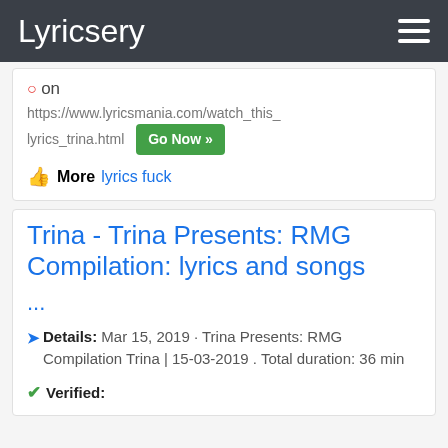Lyricsery
on
https://www.lyricsmania.com/watch_this_lyrics_trina.html  Go Now >>
More  lyrics fuck
Trina - Trina Presents: RMG Compilation: lyrics and songs
...
Details: Mar 15, 2019 · Trina Presents: RMG Compilation Trina | 15-03-2019 . Total duration: 36 min
Verified: